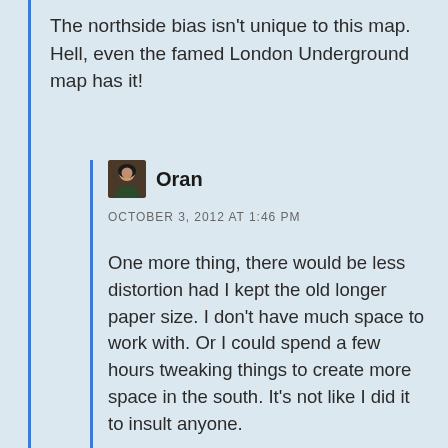The northside bias isn't unique to this map. Hell, even the famed London Underground map has it!
Oran
OCTOBER 3, 2012 AT 1:46 PM
One more thing, there would be less distortion had I kept the old longer paper size. I don't have much space to work with. Or I could spend a few hours tweaking things to create more space in the south. It's not like I did it to insult anyone.